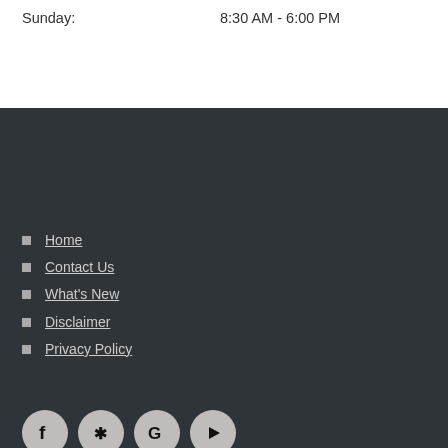Sunday:
8:30 AM - 6:00 PM
Home
Contact Us
What's New
Disclaimer
Privacy Policy
[Figure (infographic): Social media icons: Facebook, Yelp, Google, YouTube]
Schedule Appointment
Search the site